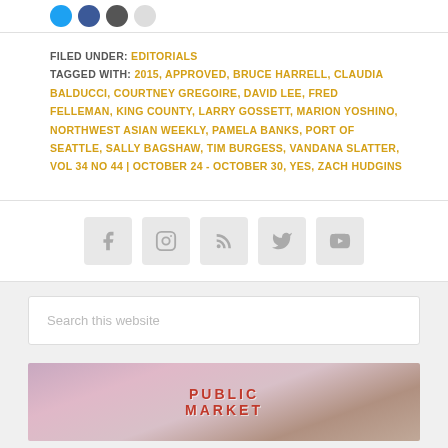FILED UNDER: EDITORIALS
TAGGED WITH: 2015, APPROVED, BRUCE HARRELL, CLAUDIA BALDUCCI, COURTNEY GREGOIRE, DAVID LEE, FRED FELLEMAN, KING COUNTY, LARRY GOSSETT, MARION YOSHINO, NORTHWEST ASIAN WEEKLY, PAMELA BANKS, PORT OF SEATTLE, SALLY BAGSHAW, TIM BURGESS, VANDANA SLATTER, VOL 34 NO 44 | OCTOBER 24 - OCTOBER 30, YES, ZACH HUDGINS
[Figure (other): Social media icons: Facebook, Instagram, RSS feed, Twitter, YouTube]
Search this website
[Figure (photo): Public Market sign with pink blossoms in background]